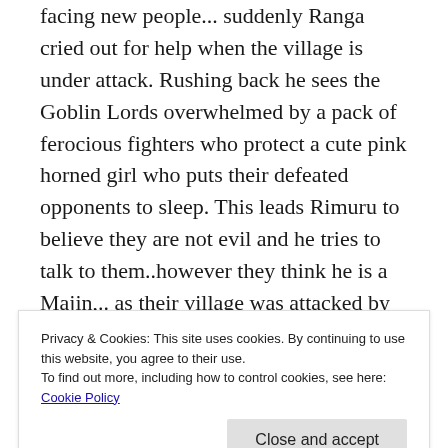facing new people... suddenly Ranga cried out for help when the village is under attack. Rushing back he sees the Goblin Lords overwhelmed by a pack of ferocious fighters who protect a cute pink horned girl who puts their defeated opponents to sleep. This leads Rimuru to believe they are not evil and he tries to talk to them..however they think he is a Majin,.. as their village was attacked by someone in a similar mask.. an orc. I assume Gelm or whatever that orc at the end of last episode was called. Since RImuru refuses to remove the mask not wanting to show his true potential yet.. things escalate and he has to fight the orcs easily defeating them
Privacy & Cookies: This site uses cookies. By continuing to use this website, you agree to their use. To find out more, including how to control cookies, see here: Cookie Policy
how their Majin did.. he gets convinced and decides